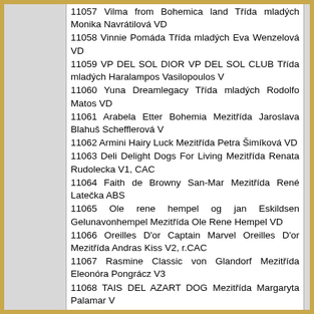11057 Vilma from Bohemica land Třída mladých Monika Navrátilová VD
11058 Vinnie Pomáda Třída mladých Eva Wenzelová VD
11059 VP DEL SOL DIOR VP DEL SOL CLUB Třída mladých Haralampos Vasilopoulos V
11060 Yuna Dreamlegacy Třída mladých Rodolfo Matos VD
11061 Arabela Etter Bohemia Mezitřída Jaroslava Blahuš Schefflerová V
11062 Armini Hairy Luck Mezitřída Petra Šimíková VD
11063 Deli Delight Dogs For Living Mezitřída Renata Rudolecka V1, CAC
11064 Faith de Browny San-Mar Mezitřída René Latečka ABS
11065 Ole rene hempel og jan Eskildsen Gelunavonhempel Mezitřída Ole Rene Hempel VD
11066 Oreilles D'or Captain Marvel Oreilles D'or Mezitřída Andras Kiss V2, r.CAC
11067 Rasmine Classic von Glandorf Mezitřída Eleonóra Pongrácz V3
11068 TAIS DEL AZART DOG Mezitřída Margaryta Palamar V
11069 TALAURI KAYETANA TALAURI Mezitřída leyre uriarte martin V
11070 VANITYFAIR'S BULLS MISS LAS VEGAS VANITYFAIR'S BULLS Mezitřída Aleksandra Stranic VD
11071 Wenzelová Eva Fawenia Mezitřída Eva Wenzelová VD
11072 Winona Alsamar Mezitřída Romana Faltysová VD